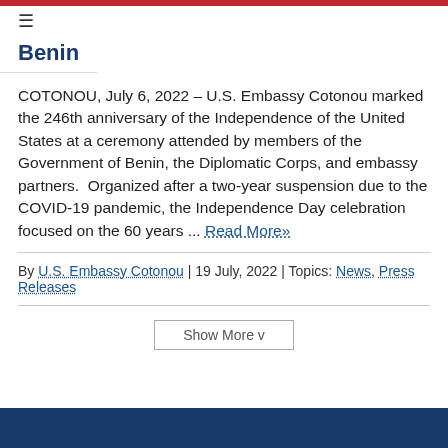≡
Benin
COTONOU, July 6, 2022 – U.S. Embassy Cotonou marked the 246th anniversary of the Independence of the United States at a ceremony attended by members of the Government of Benin, the Diplomatic Corps, and embassy partners.  Organized after a two-year suspension due to the COVID-19 pandemic, the Independence Day celebration focused on the 60 years ... Read More»
By U.S. Embassy Cotonou | 19 July, 2022 | Topics: News, Press Releases